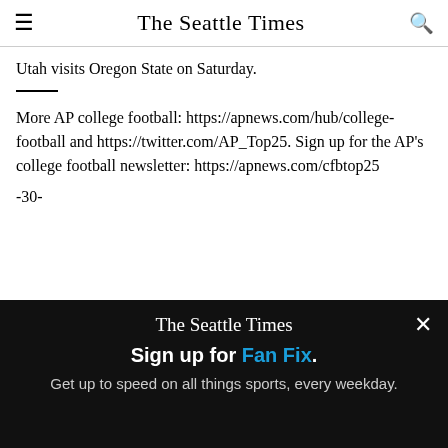The Seattle Times
Utah visits Oregon State on Saturday.
More AP college football: https://apnews.com/hub/college-football and https://twitter.com/AP_Top25. Sign up for the AP’s college football newsletter: https://apnews.com/cfbtop25
-30-
[Figure (screenshot): The Seattle Times promotional overlay on black background with 'Sign up for Fan Fix.' headline and 'Get up to speed on all things sports, every weekday.' subtext]